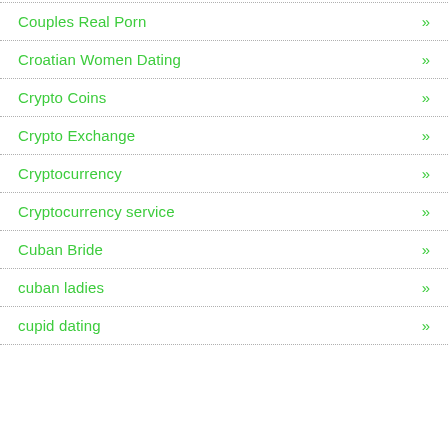Couples Real Porn »
Croatian Women Dating »
Crypto Coins »
Crypto Exchange »
Cryptocurrency »
Cryptocurrency service »
Cuban Bride »
cuban ladies »
cupid dating »